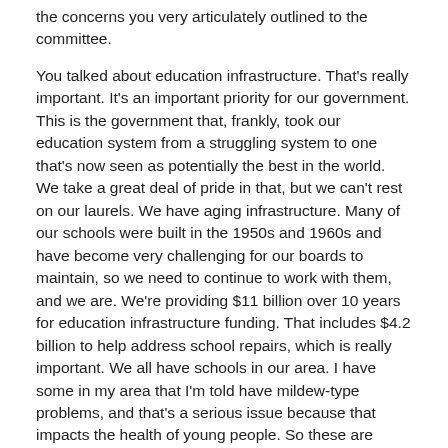the concerns you very articulately outlined to the committee.
You talked about education infrastructure. That's really important. It's an important priority for our government. This is the government that, frankly, took our education system from a struggling system to one that's now seen as potentially the best in the world. We take a great deal of pride in that, but we can't rest on our laurels. We have aging infrastructure. Many of our schools were built in the 1950s and 1960s and have become very challenging for our boards to maintain, so we need to continue to work with them, and we are. We're providing $11 billion over 10 years for education infrastructure funding. That includes $4.2 billion to help address school repairs, which is really important. We all have schools in our area. I have some in my area that I'm told have mildew-type problems, and that's a serious issue because that impacts the health of young people. So these are important investments.